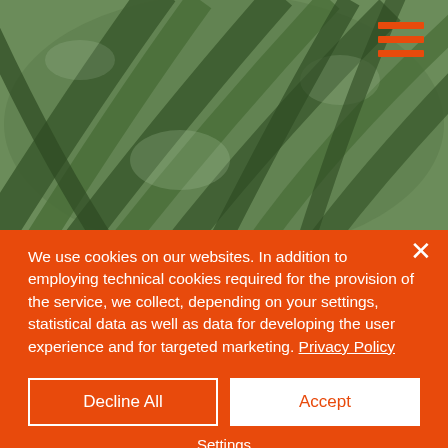[Figure (photo): Close-up photo of green tropical plant leaves with blurred background]
We use cookies on our websites. In addition to employing technical cookies required for the provision of the service, we collect, depending on your settings, statistical data as well as data for developing the user experience and for targeted marketing. Privacy Policy
Decline All
Accept
Settings